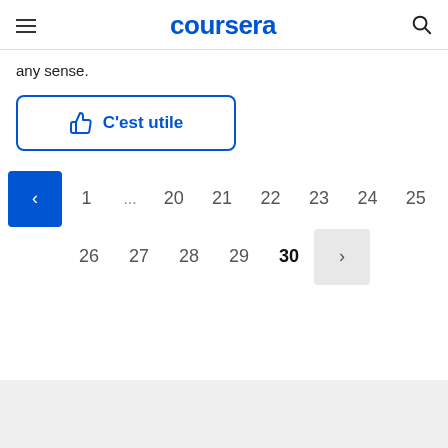coursera
any sense.
C'est utile
1 ... 20 21 22 23 24 25 26 27 28 29 30